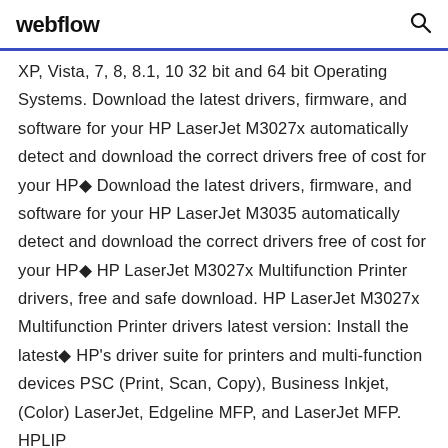webflow
XP, Vista, 7, 8, 8.1, 10 32 bit and 64 bit Operating Systems. Download the latest drivers, firmware, and software for your HP LaserJet M3027x automatically detect and download the correct drivers free of cost for your HP◆ Download the latest drivers, firmware, and software for your HP LaserJet M3035 automatically detect and download the correct drivers free of cost for your HP◆ HP LaserJet M3027x Multifunction Printer drivers, free and safe download. HP LaserJet M3027x Multifunction Printer drivers latest version: Install the latest◆ HP's driver suite for printers and multi-function devices PSC (Print, Scan, Copy), Business Inkjet, (Color) LaserJet, Edgeline MFP, and LaserJet MFP. HPLIP